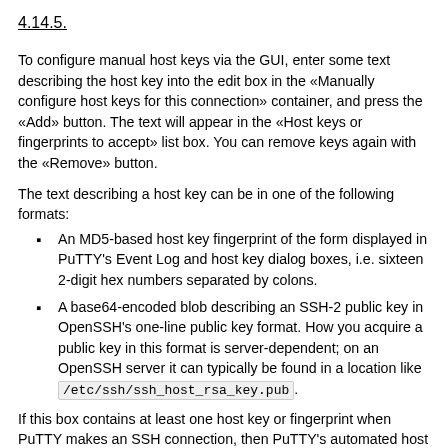4.14.5.
To configure manual host keys via the GUI, enter some text describing the host key into the edit box in the «Manually configure host keys for this connection» container, and press the «Add» button. The text will appear in the «Host keys or fingerprints to accept» list box. You can remove keys again with the «Remove» button.
The text describing a host key can be in one of the following formats:
An MD5-based host key fingerprint of the form displayed in PuTTY's Event Log and host key dialog boxes, i.e. sixteen 2-digit hex numbers separated by colons.
A base64-encoded blob describing an SSH-2 public key in OpenSSH's one-line public key format. How you acquire a public key in this format is server-dependent; on an OpenSSH server it can typically be found in a location like /etc/ssh/ssh_host_rsa_key.pub.
If this box contains at least one host key or fingerprint when PuTTY makes an SSH connection, then PuTTY's automated host key management is completely bypassed: the connection will be permitted if and only if the host key presented by the server is one of the keys listed in this box, and the host key store in the Registry will be neither read nor written, unless you explicitly do so.